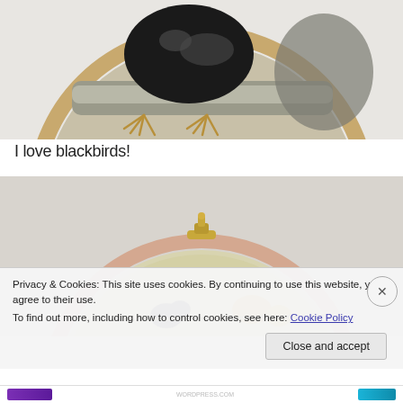[Figure (photo): Embroidery hoop artwork showing a blackbird perched on a branch, rendered in black thread on grey/beige linen fabric, with a wooden hoop frame. The bird's talons are golden/orange colored. The image is cropped to show the bottom portion of the circular hoop.]
I love blackbirds!
[Figure (photo): Embroidery hoop with a pink/beige frame showing a work-in-progress embroidery on pale green/yellow fabric, with a brass thumb screw at the top. The embroidery appears to include dark and yellow elements suggesting a bird motif.]
Privacy & Cookies: This site uses cookies. By continuing to use this website, you agree to their use.
To find out more, including how to control cookies, see here: Cookie Policy
Close and accept